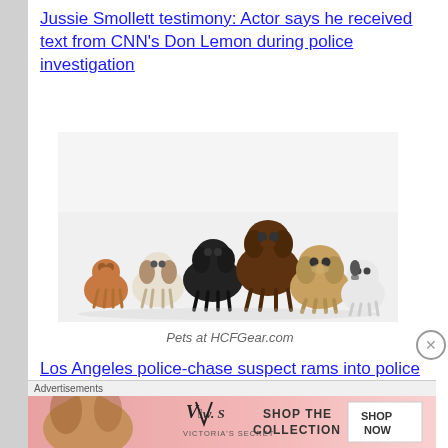Jussie Smollett testimony: Actor says he received text from CNN's Don Lemon during police investigation
[Figure (photo): Group of various dog breeds posed together on white background]
Pets at HCFGear.com
Los Angeles police-chase suspect rams into police cruisers in Studio City
Man Beheads Pregnant Sister With a Sickle, Then Poses for a Selfie With Her Remains, Police Say
Advertisements
[Figure (photo): Victoria's Secret advertisement: Shop the Collection - Shop Now]